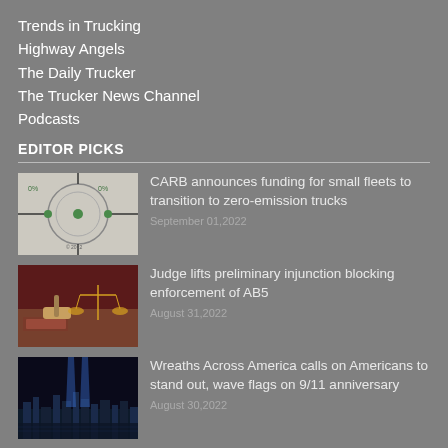Trends in Trucking
Highway Angels
The Daily Trucker
The Trucker News Channel
Podcasts
EDITOR PICKS
[Figure (photo): Close-up of electronic components, wires and circuit elements on white background]
CARB announces funding for small fleets to transition to zero-emission trucks
September 01,2022
[Figure (photo): Scales of justice and a gavel on a table with books in dark red background]
Judge lifts preliminary injunction blocking enforcement of AB5
August 31,2022
[Figure (photo): Night city skyline with two blue beams of light reaching into the sky, 9/11 memorial tribute in lights]
Wreaths Across America calls on Americans to stand out, wave flags on 9/11 anniversary
August 30,2022